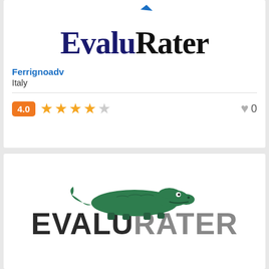[Figure (logo): EvaluRater logo in dark blue serif font with a bird/arrow graphic at top]
Ferrignoadv
Italy
4.0 ★★★★☆  ♡ 0
[Figure (logo): EVALUATER logo with green crocodile graphic above the U, black and grey sans-serif text]